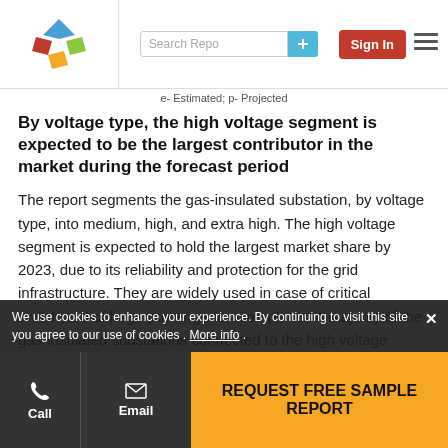[Figure (logo): Diamond-shaped logo with blue, red, and green colored diamond segments]
e- Estimated; p- Projected
By voltage type, the high voltage segment is expected to be the largest contributor in the market during the forecast period
The report segments the gas-insulated substation, by voltage type, into medium, high, and extra high. The high voltage segment is expected to hold the largest market share by 2023, due to its reliability and protection for the grid infrastructure. They are widely used in case of critical switchyard of large power generation plants. A majority of the gas-insulated substations connected to the high voltage transmission grid are the indoor type. Moreover,
We use cookies to enhance your experience. By continuing to visit this site you agree to our use of cookies . More info .
REQUEST FREE SAMPLE REPORT